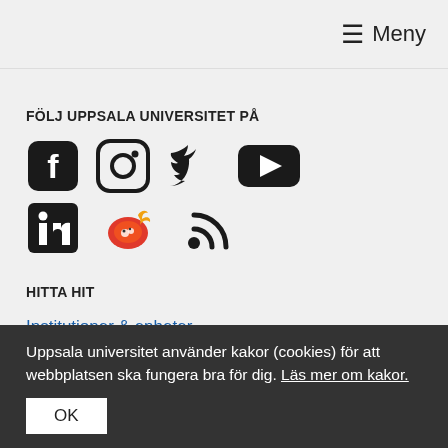≡ Meny
FÖLJ UPPSALA UNIVERSITET PÅ
[Figure (illustration): Social media icons: Facebook, Instagram, Twitter, YouTube (top row); LinkedIn, Weibo, RSS (bottom row)]
HITTA HIT
Institutioner & enheter
Universitetsområdet
Museer & trädgårdar
Uppsala universitet använder kakor (cookies) för att webbplatsen ska fungera bra för dig. Läs mer om kakor.
OK